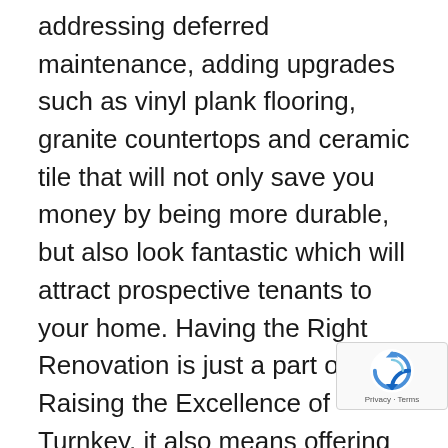addressing deferred maintenance, adding upgrades such as vinyl plank flooring, granite countertops and ceramic tile that will not only save you money by being more durable, but also look fantastic which will attract prospective tenants to your home. Having the Right Renovation is just a part of Raising the Excellence of Turnkey, it also means offering the absolute best customer service from the transaction process all the way through the in house property management company. With so many investors today investing in multiple markets, Alex hitting on the 2 Markets-1 local Team concept was received well. Lastly, the presentation went into details of raising the
[Figure (logo): reCAPTCHA badge with circular arrow logo and 'Privacy - Terms' text]